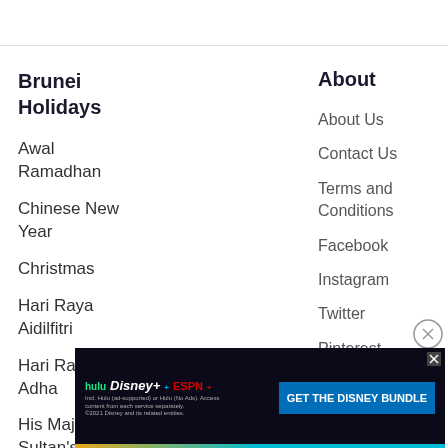Brunei Holidays
Awal Ramadhan
Chinese New Year
Christmas
Hari Raya Aidilfitri
Hari Raya Aidil Adha
His Majesty the Sultan's
About
About Us
Contact Us
Terms and Conditions
Facebook
Instagram
Twitter
Pinterest
[Figure (other): Advertisement banner for Disney Bundle featuring Hulu, Disney+, and ESPN+ logos with 'GET THE DISNEY BUNDLE' call to action button on dark background]